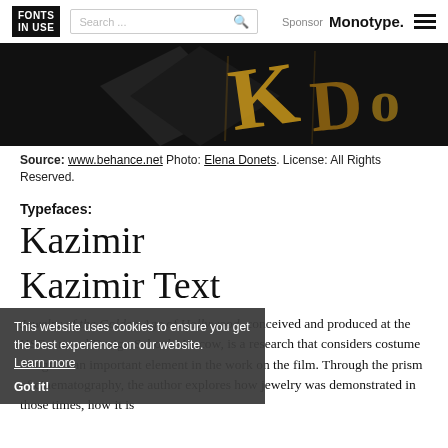FONTS IN USE | Search ... | Sponsor Monotype.
[Figure (photo): Dark hero image showing golden decorative text/jewelry on black background]
Source: www.behance.net Photo: Elena Donets. License: All Rights Reserved.
Typefaces:
Kazimir
Kazimir Text
Jewelry of the Golden Age of Hollywood, conceived and produced at the HSE Art and Design School Moscow, is a research that considers costume design as an important element in the work on the film. Through the prism of cinematography, the author explores how jewelry was demonstrated in those times, how it is
This website uses cookies to ensure you get the best experience on our website. Learn more  Got it!